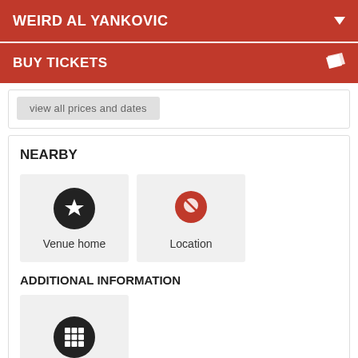WEIRD AL YANKOVIC
BUY TICKETS
[Figure (screenshot): Partially visible button with text 'view all prices and dates']
NEARBY
[Figure (illustration): Star icon button labeled 'Venue home']
[Figure (illustration): Map pin icon button labeled 'Location']
ADDITIONAL INFORMATION
[Figure (illustration): Grid/hashtag icon for additional information]
You know the drill, websites need cookies to make them work. Details of how we do it here.
Got it!